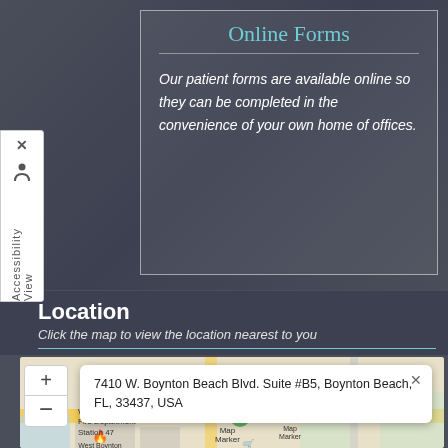Online Forms
Our patient forms are available online so they can be completed in the convenience of your own home of offices.
Location
Click the map to view the location nearest to you
[Figure (map): Google Maps view of Boynton Beach area showing 7410 W. Boynton Beach Blvd. Suite #B5, Boynton Beach, FL, 33437, USA with a map marker. Popup shows the address. Zoom controls (+/-) visible. West Boynton Fire Department Station 47 and Target visible on map.]